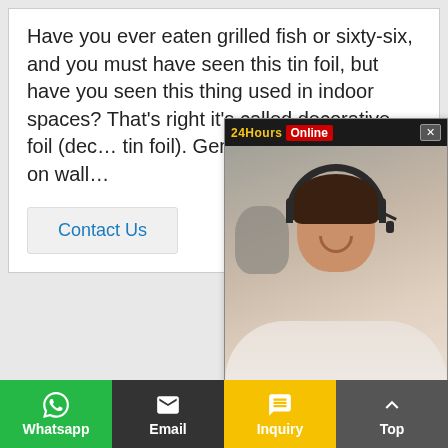Have you ever eaten grilled fish or sixty-six, and you must have seen this tin foil, but have you seen this thing used in indoor spaces? That's right it's called decorative foil (dec... tin foil). Generally, it can be used on wall...
Contact Us
[Figure (photo): Live chat popup overlay showing a customer service representative wearing a headset, smiling. Header shows '24Hours' and 'Online' labels with a close button. Bottom has a red 'Click To Chat' button.]
[Figure (photo): Empty white content area / image placeholder card]
Whatsapp | Email | Inquiry | Top